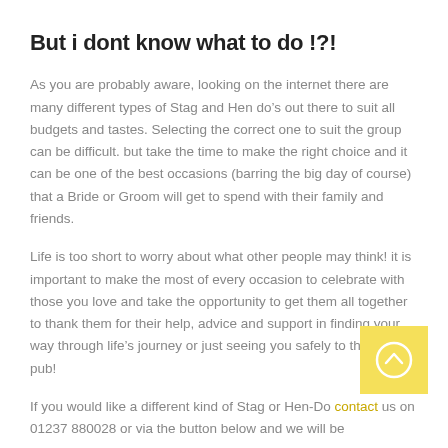But i dont know what to do !?!
As you are probably aware, looking on the internet there are many different types of Stag and Hen do’s out there to suit all budgets and tastes. Selecting the correct one to suit the group can be difficult. but take the time to make the right choice and it can be one of the best occasions (barring the big day of course) that a Bride or Groom will get to spend with their family and friends.
Life is too short to worry about what other people may think! it is important to make the most of every occasion to celebrate with those you love and take the opportunity to get them all together to thank them for their help, advice and support in finding your way through life’s journey or just seeing you safely to the next pub!
If you would like a different kind of Stag or Hen-Do contact us on 01237 880028 or via the button below and we will be
[Figure (other): Yellow square button with a circular upward arrow icon (contact/scroll-up button)]